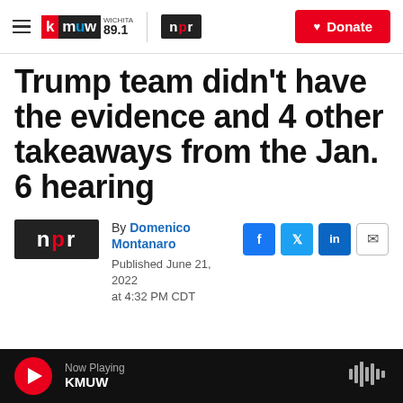KMUW WICHITA 89.1 | NPR | Donate
Trump team didn't have the evidence and 4 other takeaways from the Jan. 6 hearing
[Figure (logo): NPR logo large red and black]
By Domenico Montanaro
Published June 21, 2022 at 4:32 PM CDT
Now Playing KMUW